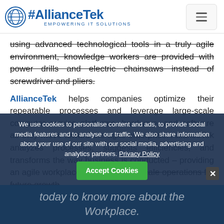[Figure (logo): AllianceTek logo with globe icon and tagline 'Empowering IT Solutions']
using advanced technological tools in a truly agile environment, knowledge workers are provided with power drills and electric chainsaws instead of screwdriver and pliers.
AllianceTek helps companies optimize their repeatable processes and leverage large-scale computer service platforms, hardware, and software as they move toward the agile enterprise. AllianceTek analyzes processes, suggests efficiencies, and transforms the way business is conducted – providing an agile workplace that can easily scale operations for future growth
We use cookies to personalise content and ads, to provide social media features and to analyse our traffic. We also share information about your use of our site with our social media, advertising and analytics partners. Privacy Policy
today to know more about the Workplace.